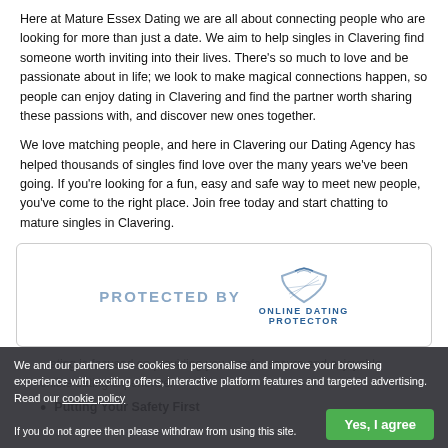Here at Mature Essex Dating we are all about connecting people who are looking for more than just a date. We aim to help singles in Clavering find someone worth inviting into their lives. There's so much to love and be passionate about in life; we look to make magical connections happen, so people can enjoy dating in Clavering and find the partner worth sharing these passions with, and discover new ones together.
We love matching people, and here in Clavering our Dating Agency has helped thousands of singles find love over the many years we've been going. If you're looking for a fun, easy and safe way to meet new people, you've come to the right place. Join free today and start chatting to mature singles in Clavering.
[Figure (logo): Protected By Online Dating Protector badge in a rounded rectangle box]
We and our partners use cookies to personalise and improve your browsing experience with exciting offers, interactive platform features and targeted advertising. Read our cookie policy
If you do not agree then please withdraw from using this site.
Online Dating is focused on providing you a safe, secure and enjoyable online dating experience.
Putting Your Safety First